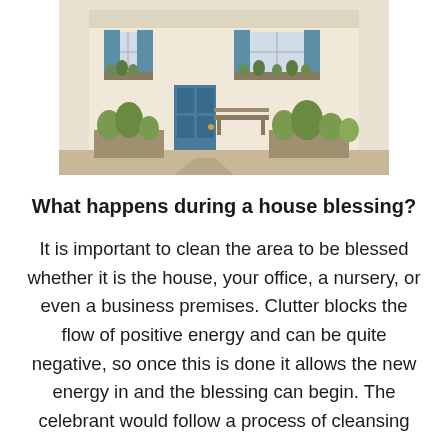[Figure (photo): Exterior of a house with blue shutters and blue door, bench and garden plants in front, sunny day]
What happens during a house blessing?
It is important to clean the area to be blessed whether it is the house, your office, a nursery, or even a business premises. Clutter blocks the flow of positive energy and can be quite negative, so once this is done it allows the new energy in and the blessing can begin. The celebrant would follow a process of cleansing